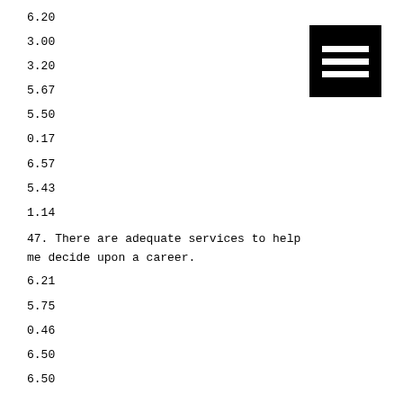6.20
3.00
3.20
5.67
5.50
0.17
6.57
5.43
1.14
47. There are adequate services to help me decide upon a career.
6.21
5.75
0.46
6.50
6.50
[Figure (other): Black square with three horizontal white bars (hamburger/menu icon)]